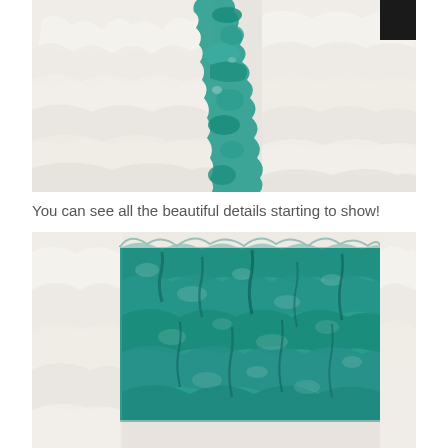[Figure (photo): Close-up photo of a white ruffled cake with teal/turquoise drizzle running vertically down the center of the white textured frosting surface.]
You can see all the beautiful details starting to show!
[Figure (photo): Close-up photo showing a cake top view with bold teal/turquoise and white textured frosting in a ruffle or coral-like pattern, with the teal color dominating the upper portion.]